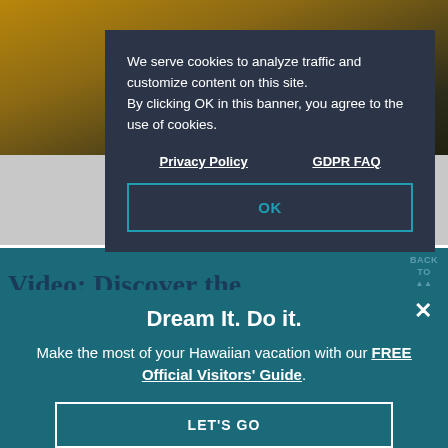[Figure (screenshot): Website screenshot showing a cookie consent dialog over a Hawaiian travel website. Background shows a dark photo at top, gray strip below, and a teal promotional banner at bottom.]
We serve cookies to analyze traffic and customize content on this site. By clicking OK in this banner, you agree to the use of cookies.
Privacy Policy    GDPR FAQ
OK
BACK TO
Video: Discover the Hawaiian Islands
Dream It. Do it.
Make the most of your Hawaiian vacation with our FREE Official Visitors' Guide.
LET'S GO